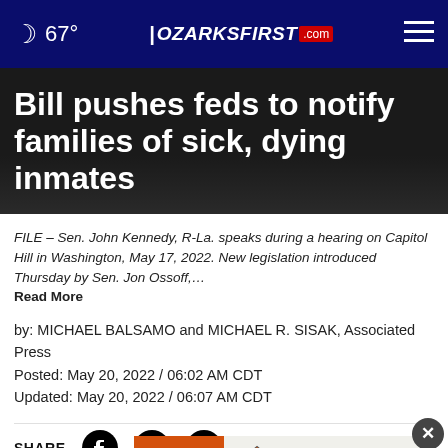67° OZARKSFIRST.com
Bill pushes feds to notify families of sick, dying inmates
FILE – Sen. John Kennedy, R-La. speaks during a hearing on Capitol Hill in Washington, May 17, 2022. New legislation introduced Thursday by Sen. Jon Ossoff,… Read More
by: MICHAEL BALSAMO and MICHAEL R. SISAK, Associated Press
Posted: May 20, 2022 / 06:02 AM CDT
Updated: May 20, 2022 / 06:07 AM CDT
SHARE
WASH... in
[Figure (screenshot): Advertisement banner: Do it Center and Home Center logos with text YOUR SOURCE FOR DIY RIGHT HERE, RIGHT NOW!]